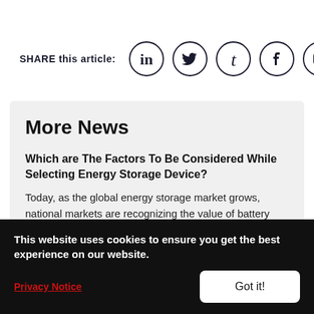SHARE this article:
[Figure (infographic): Social media share icons in circles: LinkedIn, Twitter, Tumblr, Facebook, Instagram]
More News
Which are The Factors To Be Considered While Selecting Energy Storage Device?
Today, as the global energy storage market grows, national markets are recognizing the value of battery
This website uses cookies to ensure you get the best experience on our website.
Privacy Notice
Got it!